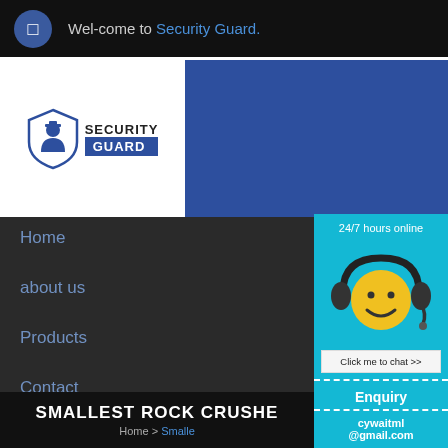Wel-come to Security Guard.
[Figure (logo): Security Guard logo with shield icon and text SECURITY GUARD]
Home
about us
Products
Contact
[Figure (illustration): 24/7 hours online chat widget with smiley face wearing headset, Click me to chat >> button, Enquiry section, cywaitml@gmail.com email]
SMALLEST ROCK CRUSHE
Home > Smalle